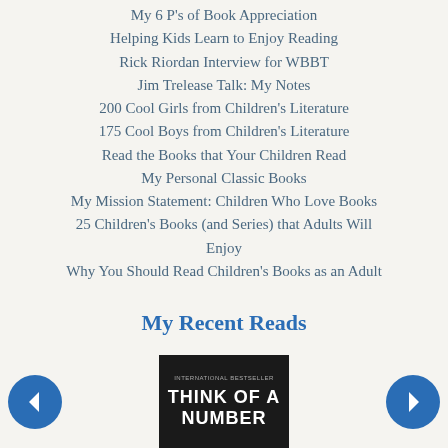My 6 P's of Book Appreciation
Helping Kids Learn to Enjoy Reading
Rick Riordan Interview for WBBT
Jim Trelease Talk: My Notes
200 Cool Girls from Children's Literature
175 Cool Boys from Children's Literature
Read the Books that Your Children Read
My Personal Classic Books
My Mission Statement: Children Who Love Books
25 Children's Books (and Series) that Adults Will Enjoy
Why You Should Read Children's Books as an Adult
My Recent Reads
[Figure (photo): Book cover for 'Think of a Number' - dark/black cover with white bold text saying THINK OF A NUMBER, labeled as International Bestseller at top]